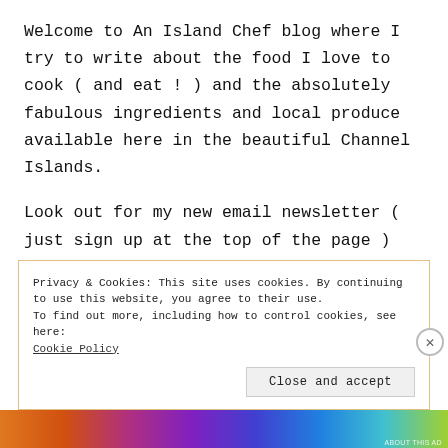Welcome to An Island Chef blog where I try to write about the food I love to cook ( and eat ! ) and the absolutely fabulous ingredients and local produce available here in the beautiful Channel Islands.
Look out for my new email newsletter ( just sign up at the top of the page ) and allergens highlights in all my new recipes.
Privacy & Cookies: This site uses cookies. By continuing to use this website, you agree to their use.
To find out more, including how to control cookies, see here:
Cookie Policy